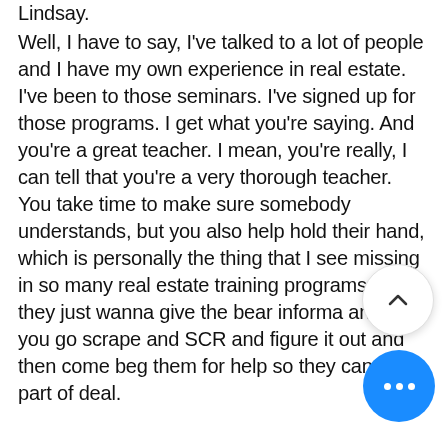Lindsay.
Well, I have to say, I've talked to a lot of people and I have my own experience in real estate. I've been to those seminars. I've signed up for those programs. I get what you're saying. And you're a great teacher. I mean, you're really, I can tell that you're a very thorough teacher. You take time to make sure somebody understands, but you also help hold their hand, which is personally the thing that I see missing in so many real estate training programs is that they just wanna give the bear informa and let you go scrape and SCR and figure it out and then come beg them for help so they can take part of deal.